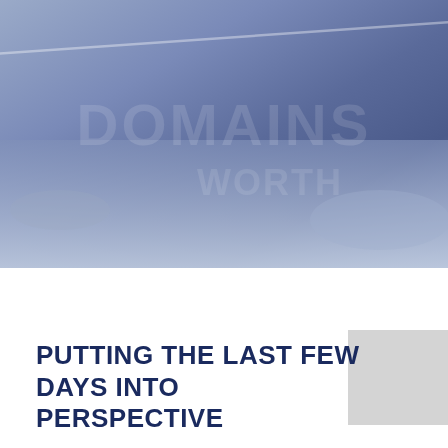[Figure (photo): Aerial or wide-angle photograph of a snowy winter landscape with a bluish-purple hazy atmosphere. A diagonal light streak or trail is visible across the upper portion. A faint watermark reading 'DOMAINS WORTH' or similar text is overlaid on the image.]
PUTTING THE LAST FEW DAYS INTO PERSPECTIVE
It looks like the noise has been somewhat dominant in